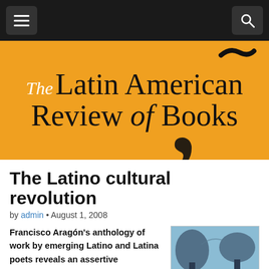The Latin American Review of Books
The Latino cultural revolution
by admin • August 1, 2008
Francisco Aragón's anthology of work by emerging Latino and Latina poets reveals an assertive appropriation of the English language
[Figure (photo): Book cover of The Wind Shifts: New Latino Poetry, showing palm trees in blue tones]
The Wind Shifts: New Latino Poetry
Edited by Francisco Aragón
2007, University of Arizona Press